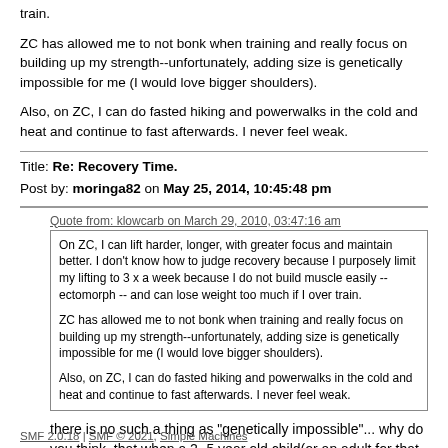train.
ZC has allowed me to not bonk when training and really focus on building up my strength--unfortunately, adding size is genetically impossible for me (I would love bigger shoulders).
Also, on ZC, I can do fasted hiking and powerwalks in the cold and heat and continue to fast afterwards. I never feel weak.
Title: Re: Recovery Time.
Post by: moringa82 on May 25, 2014, 10:45:48 pm
Quote from: klowcarb on March 29, 2010, 03:47:16 am
On ZC, I can lift harder, longer, with greater focus and maintain better. I don't know how to judge recovery because I purposely limit my lifting to 3 x a week because I do not build muscle easily -- ectomorph -- and can lose weight too much if I over train.

ZC has allowed me to not bonk when training and really focus on building up my strength--unfortunately, adding size is genetically impossible for me (I would love bigger shoulders).

Also, on ZC, I can do fasted hiking and powerwalks in the cold and heat and continue to fast afterwards. I never feel weak.
there is no such a thing as "genetically impossible"... why do you think  that when a 2- 5 year old child(or an adult for that matter) is dewormed, they gain healthy weight immediately?
SMF 2.0.18 | SMF © 2021, Simple Machines